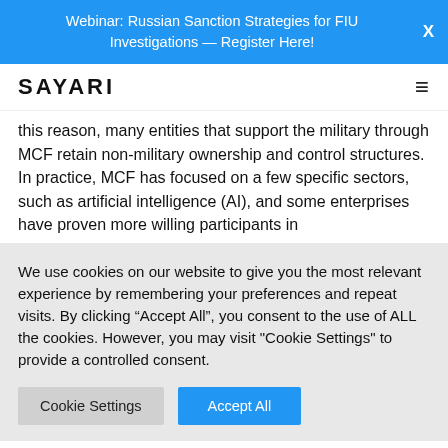Webinar: Russian Sanction Strategies for FIU Investigations — Register Here!
this reason, many entities that support the military through MCF retain non-military ownership and control structures.
In practice, MCF has focused on a few specific sectors, such as artificial intelligence (AI), and some enterprises have proven more willing participants in
We use cookies on our website to give you the most relevant experience by remembering your preferences and repeat visits. By clicking "Accept All", you consent to the use of ALL the cookies. However, you may visit "Cookie Settings" to provide a controlled consent.